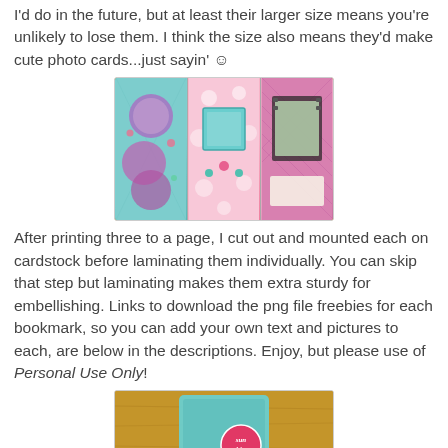I'd do in the future, but at least their larger size means you're unlikely to lose them. I think the size also means they'd make cute photo cards...just sayin' ☺
[Figure (photo): Three decorative bookmarks laid on a wooden surface. Left bookmark has teal/aqua background with circular photo frames and floral decorations. Middle bookmark has pink floral pattern with a square photo frame showing a girl. Right bookmark has pink diamond pattern with a film-strip style photo of a child in a red hat.]
After printing three to a page, I cut out and mounted each on cardstock before laminating them individually. You can skip that step but laminating makes them extra sturdy for embellishing. Links to download the png file freebies for each bookmark, so you can add your own text and pictures to each, are below in the descriptions. Enjoy, but please use of Personal Use Only!
[Figure (photo): Close-up photo of a bookmark on a wooden surface showing a teal/aqua textured bookmark with a pink circular badge reading 'sunshine'.]